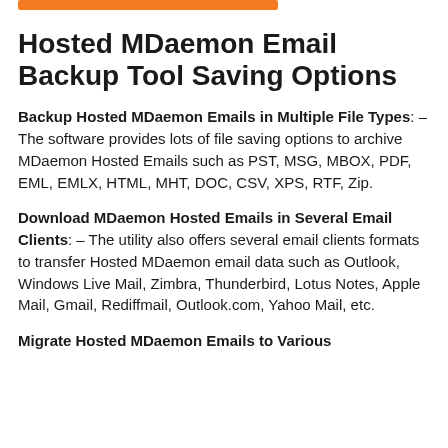[Figure (other): Orange horizontal bar accent at top]
Hosted MDaemon Email Backup Tool Saving Options
Backup Hosted MDaemon Emails in Multiple File Types: – The software provides lots of file saving options to archive MDaemon Hosted Emails such as PST, MSG, MBOX, PDF, EML, EMLX, HTML, MHT, DOC, CSV, XPS, RTF, Zip.
Download MDaemon Hosted Emails in Several Email Clients: – The utility also offers several email clients formats to transfer Hosted MDaemon email data such as Outlook, Windows Live Mail, Zimbra, Thunderbird, Lotus Notes, Apple Mail, Gmail, Rediffmail, Outlook.com, Yahoo Mail, etc.
Migrate Hosted MDaemon Emails to Various